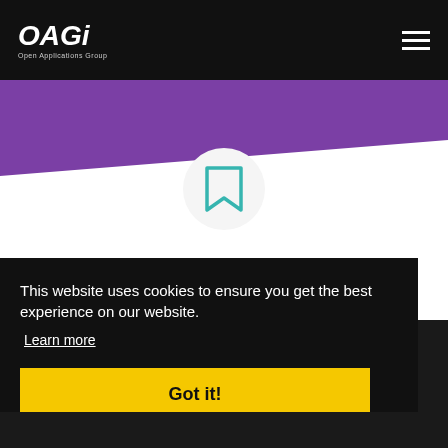OAGi — Open Applications Group
[Figure (illustration): Purple header band with white diagonal slant and a circular icon containing a teal bookmark symbol]
This website uses cookies to ensure you get the best experience on our website.
Learn more
Got it!